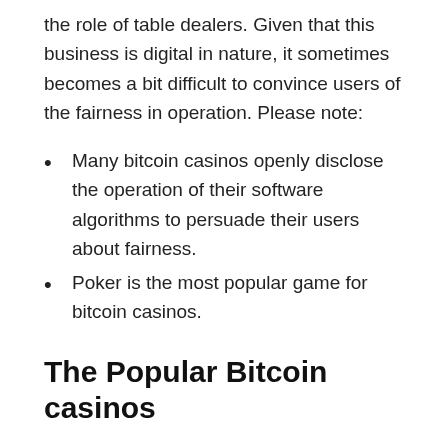the role of table dealers. Given that this business is digital in nature, it sometimes becomes a bit difficult to convince users of the fairness in operation. Please note:
Many bitcoin casinos openly disclose the operation of their software algorithms to persuade their users about fairness.
Poker is the most popular game for bitcoin casinos.
The Popular Bitcoin casinos
Bitcoin casinos are speculated to have a large impact on the bitcoin market. They remain an ethical grey area. Although bitcoin casinos remain illegal in the United States and some